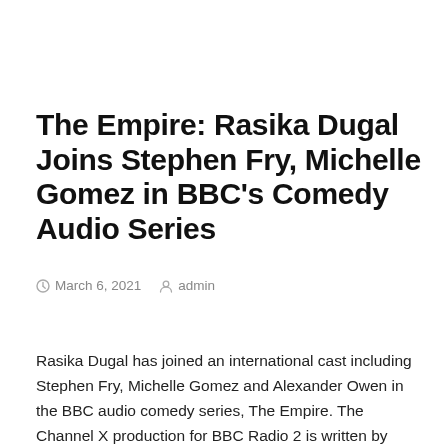The Empire: Rasika Dugal Joins Stephen Fry, Michelle Gomez in BBC's Comedy Audio Series
March 6, 2021   admin
Rasika Dugal has joined an international cast including Stephen Fry, Michelle Gomez and Alexander Owen in the BBC audio comedy series, The Empire. The Channel X production for BBC Radio 2 is written by Anuvab Pal and directed by Ed Morrish. The Empire is set in Imperial India where the new district magistrate of Darjeeling grapples with responsibilities of his